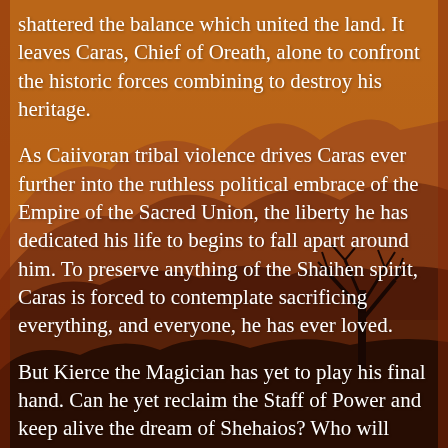[Figure (illustration): Warm amber/orange toned landscape background with silhouetted mountains, hills, and a bare tree on the right, sunset sky atmosphere]
shattered the balance which united the land. It leaves Caras, Chief of Oreath, alone to confront the historic forces combining to destroy his heritage.
As Caiivoran tribal violence drives Caras ever further into the ruthless political embrace of the Empire of the Sacred Union, the liberty he has dedicated his life to begins to fall apart around him. To preserve anything of the Shaihen spirit, Caras is forced to contemplate sacrificing everything, and everyone, he has ever loved.
But Kierce the Magician has yet to play his final hand. Can he yet reclaim the Staff of Power and keep alive the dream of Shehaios? Who will